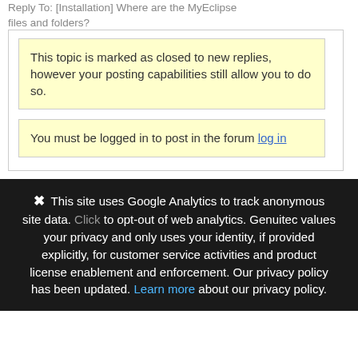Reply To: [Installation] Where are the MyEclipse files and folders?
This topic is marked as closed to new replies, however your posting capabilities still allow you to do so.
You must be logged in to post in the forum log in
✖  This site uses Google Analytics to track anonymous site data. Click to opt-out of web analytics. Genuitec values your privacy and only uses your identity, if provided explicitly, for customer service activities and product license enablement and enforcement. Our privacy policy has been updated. Learn more about our privacy policy.